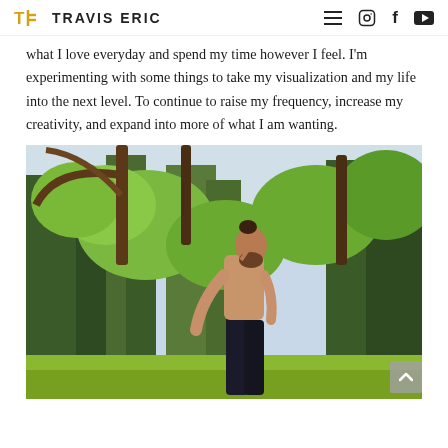TE  TRAVIS ERIC
what I love everyday and spend my time however I feel. I'm experimenting with some things to take my visualization and my life into the next level. To continue to raise my frequency, increase my creativity, and expand into more of what I am wanting.
[Figure (photo): A shirtless man with a bun hairstyle standing in a forest clearing surrounded by tall green and brown trees under a light sky. The man is leaning forward slightly, photographed from a side angle.]